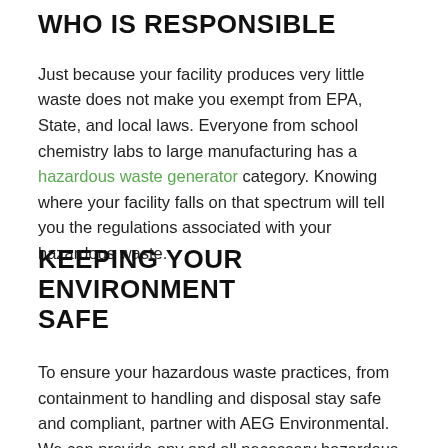WHO IS RESPONSIBLE
Just because your facility produces very little waste does not make you exempt from EPA, State, and local laws. Everyone from school chemistry labs to large manufacturing has a hazardous waste generator category. Knowing where your facility falls on that spectrum will tell you the regulations associated with your hazardous waste.
KEEPING YOUR ENVIRONMENT SAFE
To ensure your hazardous waste practices, from containment to handling and disposal stay safe and compliant, partner with AEG Environmental. We can provide any and all necessary hazardous waste safety training. Once waste materials are packaged, we can